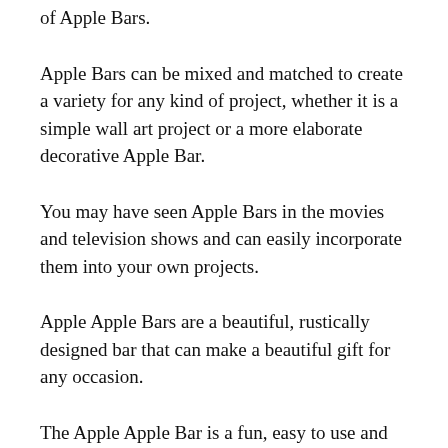of Apple Bars.
Apple Bars can be mixed and matched to create a variety for any kind of project, whether it is a simple wall art project or a more elaborate decorative Apple Bar.
You may have seen Apple Bars in the movies and television shows and can easily incorporate them into your own projects.
Apple Apple Bars are a beautiful, rustically designed bar that can make a beautiful gift for any occasion.
The Apple Apple Bar is a fun, easy to use and inexpensive way to decorate a wall, ceiling or other surface.
The easiest way to add this unique Apple Apple